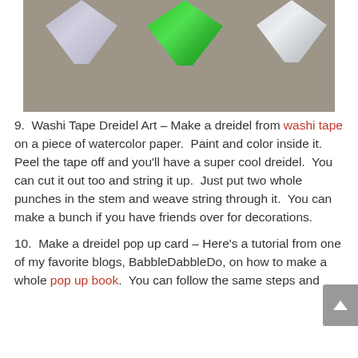[Figure (photo): Three decorative dreidels on a brown/grey surface — silver glitter on left, bright green in center, white/grey on right]
9.  Washi Tape Dreidel Art – Make a dreidel from washi tape on a piece of watercolor paper.  Paint and color inside it.  Peel the tape off and you'll have a super cool dreidel.  You can cut it out too and string it up.  Just put two whole punches in the stem and weave string through it.  You can make a bunch if you have friends over for decorations.
10.  Make a dreidel pop up card – Here's a tutorial from one of my favorite blogs, BabbleDabbleDo, on how to make a whole pop up book.  You can follow the same steps and